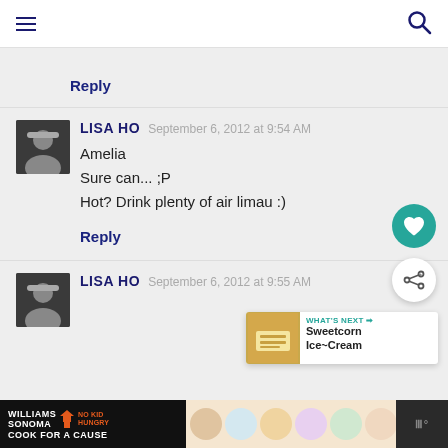Menu | Search
Reply
LISA HO  September 6, 2012 at 9:54 AM
Amelia
Sure can... ;P
Hot? Drink plenty of air limau :)
Reply
LISA HO  September 6, 2012 at 9:55 AM
[Figure (screenshot): What's Next promotional widget showing Sweetcorn Ice-Cream]
[Figure (screenshot): Williams Sonoma No Kid Hungry Cook For A Cause advertisement banner]